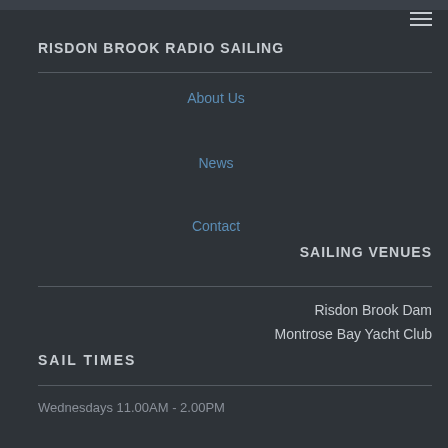RISDON BROOK RADIO SAILING
About Us
News
Contact
SAILING VENUES
Risdon Brook Dam
Montrose Bay Yacht Club
SAIL TIMES
Wednesdays 11.00AM - 2.00PM